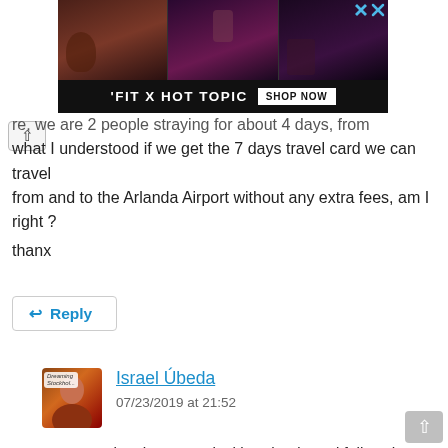[Figure (photo): Advertisement banner for 'FIT X HOT TOPIC' showing three photos of women in dark clothing, with a 'SHOP NOW' button. An ad close button (X) is visible in the top right.]
re, we are 2 people straying for about 4 days, from what I understood if we get the 7 days travel card we can travel from and to the Arlanda Airport without any extra fees, am I right ? thanx
Reply
Israel Úbeda
07/23/2019 at 21:52
Sure. You buy it upon arrival in Arlanda and follow the instructions here regarding bus to Märsta Station and commuter train to Stockholm City. There is another option with the travelcard that includes a fee and that is taking the commuter train at Arlanda C station. That's NOT the one I